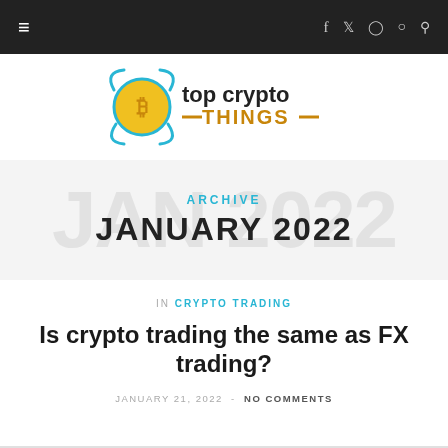≡   f  Twitter  Instagram  Pinterest  Search
[Figure (logo): Top Crypto Things logo with circular crypto coin icon and text 'top crypto THINGS']
ARCHIVE
JANUARY 2022
in CRYPTO TRADING
Is crypto trading the same as FX trading?
JANUARY 21, 2022  -  NO COMMENTS